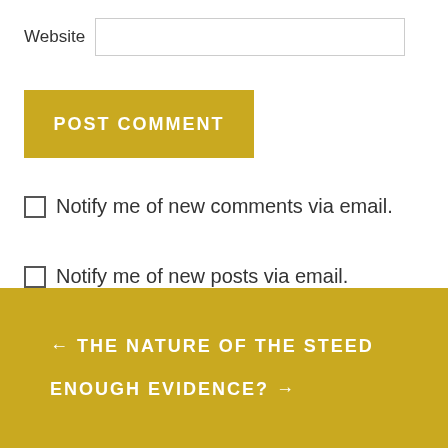Website
POST COMMENT
Notify me of new comments via email.
Notify me of new posts via email.
← THE NATURE OF THE STEED
ENOUGH EVIDENCE? →